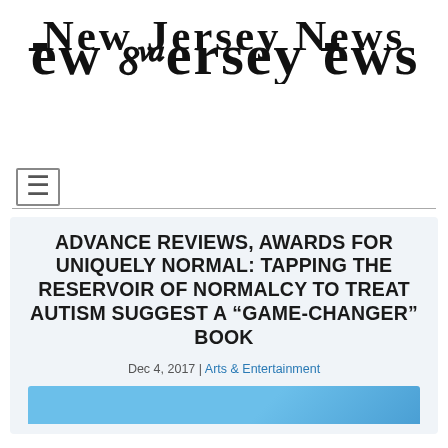New Jersey News
ADVANCE REVIEWS, AWARDS FOR UNIQUELY NORMAL: TAPPING THE RESERVOIR OF NORMALCY TO TREAT AUTISM SUGGEST A “GAME-CHANGER” BOOK
Dec 4, 2017 | Arts & Entertainment
[Figure (photo): Partial blue image visible at bottom of article card]